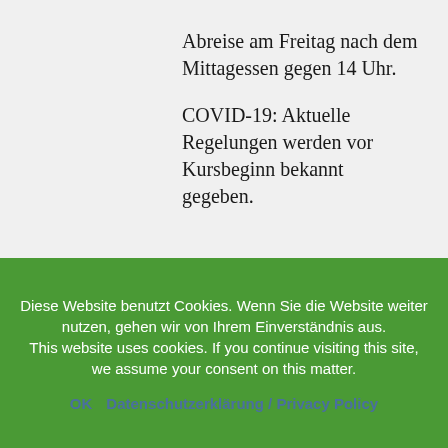Abreise am Freitag nach dem Mittagessen gegen 14 Uhr.
COVID-19: Aktuelle Regelungen werden vor Kursbeginn bekannt gegeben.
Diese Website benutzt Cookies. Wenn Sie die Website weiter nutzen, gehen wir von Ihrem Einverständnis aus. This website uses cookies. If you continue visiting this site, we assume your consent on this matter.
OK   Datenschutzerklärung / Privacy Policy